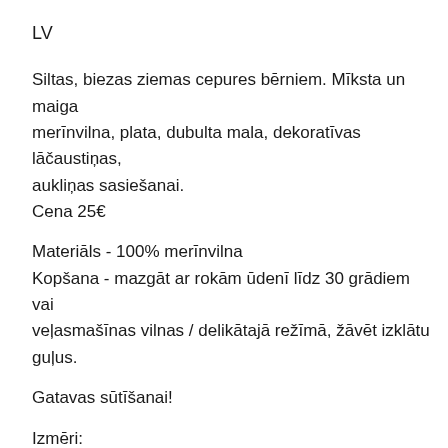LV
Siltas, biezas ziemas cepures bērniem. Mīksta un maiga merīnvilna, plata, dubulta mala, dekoratīvas lāčaustiņas, aukliņas sasiešanai.
Cena 25€
Materiāls - 100% merīnvilna
Kopšana - mazgāt ar rokām ūdenī līdz 30 grādiem vai veļasmašīnas vilnas / delikātajā režīmā, žāvēt izklātu guļus.
Gatavas sūtīšanai!
Izmēri:
(40–44 cm) 0-6 mēneši, 17'
(44–46 cm) 6-12 mēneši, 18'
(46–48 cm) 1-2 gadi, 19'